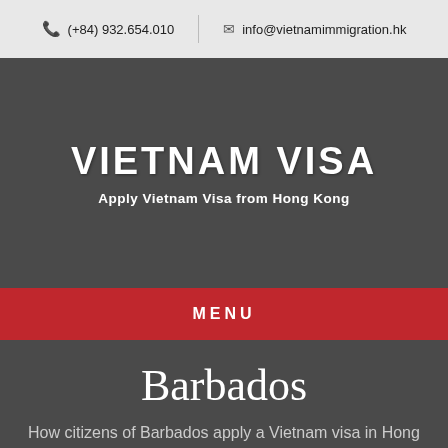(+84) 932.654.010 | info@vietnamimmigration.hk
VIETNAM VISA
Apply Vietnam Visa from Hong Kong
MENU
Barbados
How citizens of Barbados apply a Vietnam visa in Hong Kong?